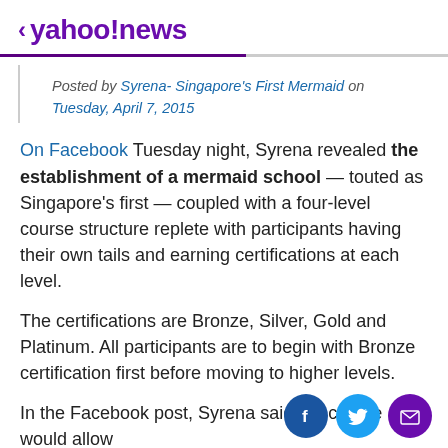< yahoo!news
Posted by Syrena- Singapore's First Mermaid on Tuesday, April 7, 2015
On Facebook Tuesday night, Syrena revealed the establishment of a mermaid school — touted as Singapore's first — coupled with a four-level course structure replete with participants having their own tails and earning certifications at each level.
The certifications are Bronze, Silver, Gold and Platinum. All participants are to begin with Bronze certification first before moving to higher levels.
In the Facebook post, Syrena said the course would allow
[Figure (other): Social media share buttons: Facebook (blue circle with f), Twitter (light blue circle with bird), Email (purple circle with envelope)]